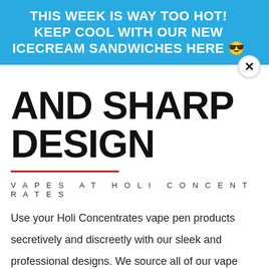THIS WEEK IS WAY TOO HOT! KEEP COOL WITH OUR NEW ICECREAM SANDWICHES HERE 😎
AND SHARP DESIGN
VAPES AT HOLI CONCENTRATES
Use your Holi Concentrates vape pen products secretively and discreetly with our sleek and professional designs. We source all of our vape products from manufacturers with transparent production processes and responsible cannabis sourcing methods. Vape pens